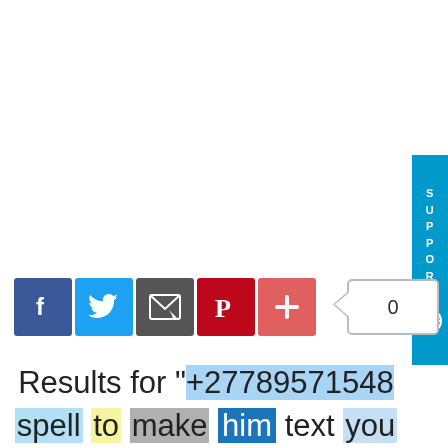[Figure (other): Social share buttons: Facebook (blue), Twitter (light blue), Email (dark gray), Pinterest (red), Plus/More (salmon red), followed by a vote count badge showing 0]
Results for "+27789571548 spell to make him text you in North York Winnipeg
[Figure (other): SUPPORT vertical tab on right side with lifesaver icon]